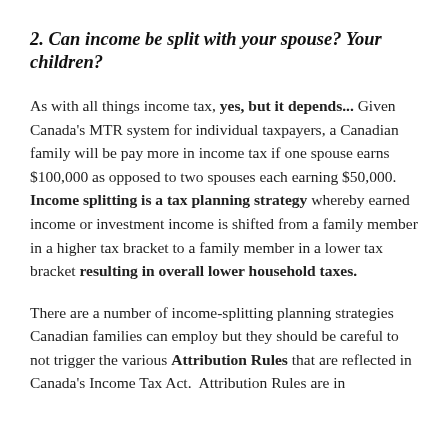2. Can income be split with your spouse?  Your children?
As with all things income tax, yes, but it depends... Given Canada's MTR system for individual taxpayers, a Canadian family will be pay more in income tax if one spouse earns $100,000 as opposed to two spouses each earning $50,000. Income splitting is a tax planning strategy whereby earned income or investment income is shifted from a family member in a higher tax bracket to a family member in a lower tax bracket resulting in overall lower household taxes.
There are a number of income-splitting planning strategies Canadian families can employ but they should be careful to not trigger the various Attribution Rules that are reflected in Canada's Income Tax Act.  Attribution Rules are in